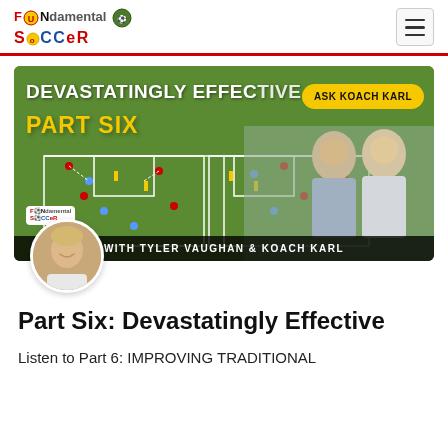FUNdamental Soccer
[Figure (photo): Devastatingly Effective Part Six banner image showing soccer tactical diagrams on green field background with two men (Tyler Vaughan and Koach Karl) and Ask Koach Karl badge, with FUNdamental Soccer logo and avatar portrait of Koach Karl]
Part Six: Devastatingly Effective
Listen to Part 6: IMPROVING TRADITIONAL